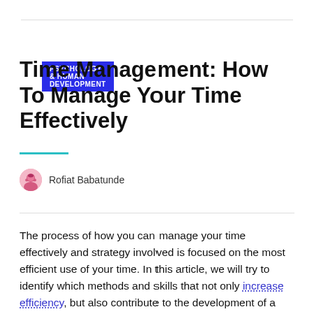PSYCHOLOGY & HUMAN DEVELOPMENT
Time Management: How To Manage Your Time Effectively
Rofiat Babatunde
The process of how you can manage your time effectively and strategy involved is focused on the most efficient use of your time. In this article, we will try to identify which methods and skills that not only increase efficiency, but also contribute to the development of a particular type of thinking without stress.